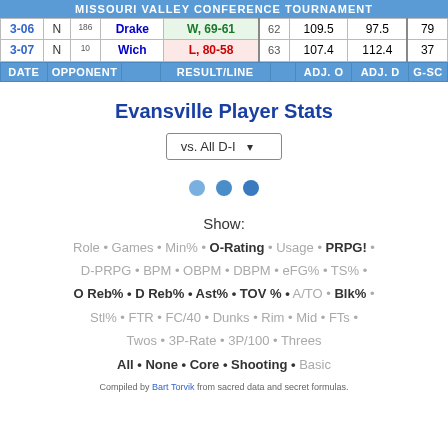MISSOURI VALLEY CONFERENCE TOURNAMENT
| DATE | N |  | OPPONENT | RESULT/LINE |  | ADJ. O | ADJ. D | G-SC |
| --- | --- | --- | --- | --- | --- | --- | --- | --- |
| 3-06 | N | 186 | Drake | W, 69-61 | 62 | 109.5 | 97.5 | 79 |
| 3-07 | N | 10 | Wich | L, 80-58 | 63 | 107.4 | 112.4 | 37 |
Evansville Player Stats
vs. All D-I
[Figure (other): Three loading dots indicating content is loading]
Show:
Role • Games • Min% • O-Rating • Usage • PRPG! • D-PRPG • BPM • OBPM • DBPM • eFG% • TS% • O Reb% • D Reb% • Ast% • TOV % • A/TO • Blk% • Stl% • FTR • FC/40 • Dunks • Rim • Mid • FTs • Twos • 3P-Rate • 3P/100 • Threes • All • None • Core • Shooting • Basic
Compiled by Bart Torvik from sacred data and secret formulas.